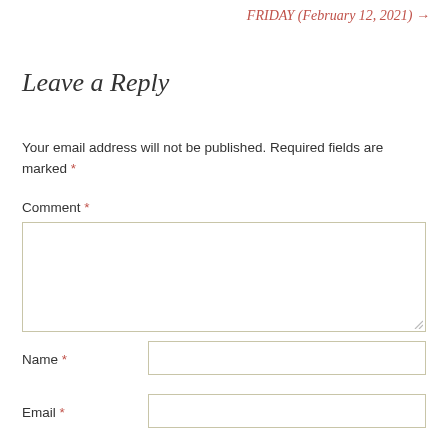FRIDAY (February 12, 2021) →
Leave a Reply
Your email address will not be published. Required fields are marked *
Comment *
Name *
Email *